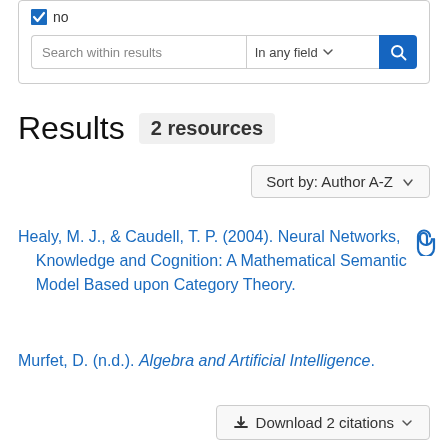no
[Figure (screenshot): Search within results input field with 'In any field' dropdown and blue search button]
Results  2 resources
Sort by: Author A-Z
Healy, M. J., & Caudell, T. P. (2004). Neural Networks, Knowledge and Cognition: A Mathematical Semantic Model Based upon Category Theory.
Murfet, D. (n.d.). Algebra and Artificial Intelligence.
Download 2 citations